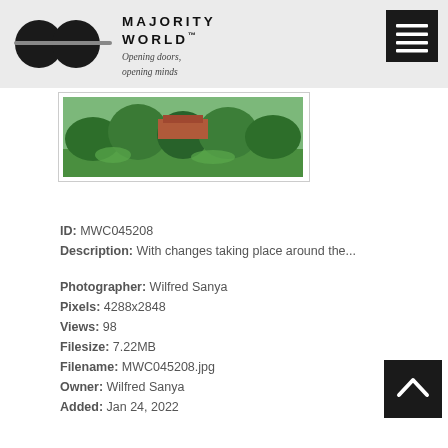MAJORITY WORLD™ — Opening doors, opening minds
[Figure (photo): Partial view of a green garden/outdoor scene with trees and shrubs, thumbnail of photo MWC045208]
ID: MWC045208
Description: With changes taking place around the...
Photographer: Wilfred Sanya
Pixels: 4288x2848
Views: 98
Filesize: 7.22MB
Filename: MWC045208.jpg
Owner: Wilfred Sanya
Added: Jan 24, 2022